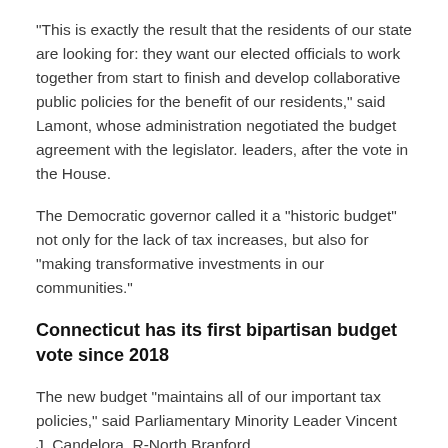“This is exactly the result that the residents of our state are looking for: they want our elected officials to work together from start to finish and develop collaborative public policies for the benefit of our residents,” said Lamont, whose administration negotiated the budget agreement with the legislator. leaders, after the vote in the House.
The Democratic governor called it a “historic budget” not only for the lack of tax increases, but also for “making transformative investments in our communities.”
Connecticut has its first bipartisan budget vote since 2018
The new budget “maintains all of our important tax policies,” said Parliamentary Minority Leader Vincent J. Candelora, R-North Branford.
This includes not only staying under the statutory expenditure